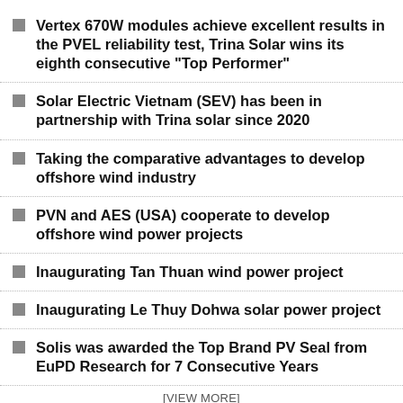Vertex 670W modules achieve excellent results in the PVEL reliability test, Trina Solar wins its eighth consecutive “Top Performer”
Solar Electric Vietnam (SEV) has been in partnership with Trina solar since 2020
Taking the comparative advantages to develop offshore wind industry
PVN and AES (USA) cooperate to develop offshore wind power projects
Inaugurating Tan Thuan wind power project
Inaugurating Le Thuy Dohwa solar power project
Solis was awarded the Top Brand PV Seal from EuPD Research for 7 Consecutive Years
[VIEW MORE]